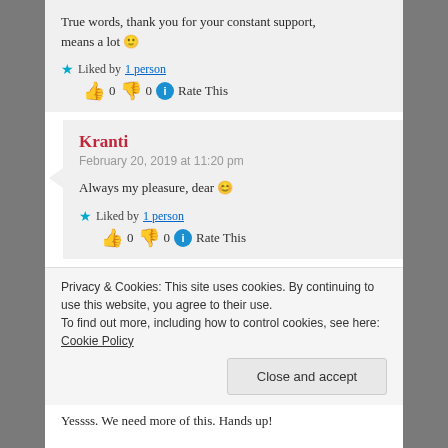True words, thank you for your constant support, means a lot 🙂
★ Liked by 1 person  👍 0  👎 0  ℹ Rate This
Kranti
February 20, 2019 at 11:20 pm
Always my pleasure, dear 😊
★ Liked by 1 person  👍 0  👎 0  ℹ Rate This
Privacy & Cookies: This site uses cookies. By continuing to use this website, you agree to their use. To find out more, including how to control cookies, see here: Cookie Policy
Close and accept
Yessss. We need more of this. Hands up!